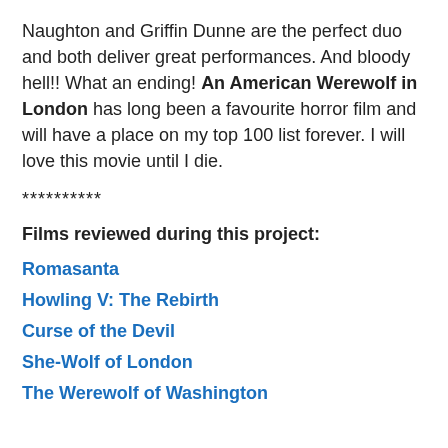Naughton and Griffin Dunne are the perfect duo and both deliver great performances. And bloody hell!! What an ending! An American Werewolf in London has long been a favourite horror film and will have a place on my top 100 list forever. I will love this movie until I die.
**********
Films reviewed during this project:
Romasanta
Howling V: The Rebirth
Curse of the Devil
She-Wolf of London
The Werewolf of Washington